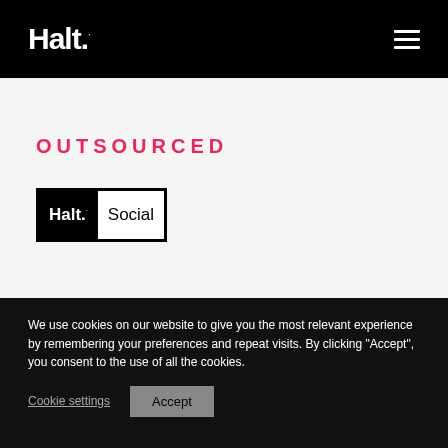Halt. [logo] with hamburger menu icon
OUTSOURCED
[Figure (logo): Halt. Social logo — black box with white 'Halt.' text on left and 'Social' text on right]
We use cookies on our website to give you the most relevant experience by remembering your preferences and repeat visits. By clicking "Accept", you consent to the use of all the cookies.
Cookie settings   Accept